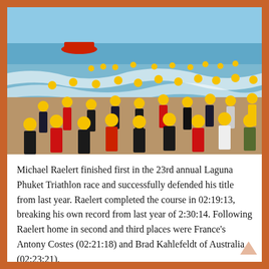[Figure (photo): Triathlon swimmers wearing yellow caps running into ocean waves at the start of a race. A red rescue boat is visible in the background on the water.]
Michael Raelert finished first in the 23rd annual Laguna Phuket Triathlon race and successfully defended his title from last year. Raelert completed the course in 02:19:13, breaking his own record from last year of 2:30:14. Following Raelert home in second and third places were France's Antony Costes (02:21:18) and Brad Kahlefeldt of Australia (02:23:21).